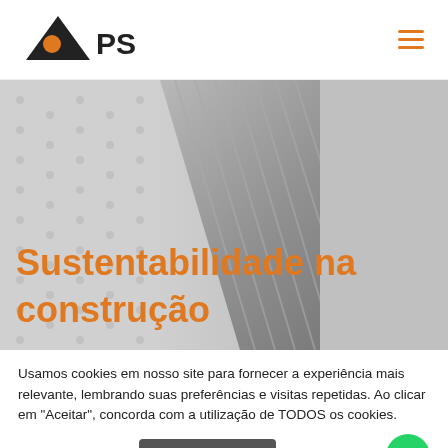[Figure (logo): PSA company logo — black triangle with orange circle, text PSA in black]
[Figure (photo): Hero image showing metallic construction panels/sheets in grayscale]
Sustentabilidade na construção
Usamos cookies em nosso site para fornecer a experiência mais relevante, lembrando suas preferências e visitas repetidas. Ao clicar em "Aceitar", concorda com a utilização de TODOS os cookies.
Configurar Cookies
Time de Vendas